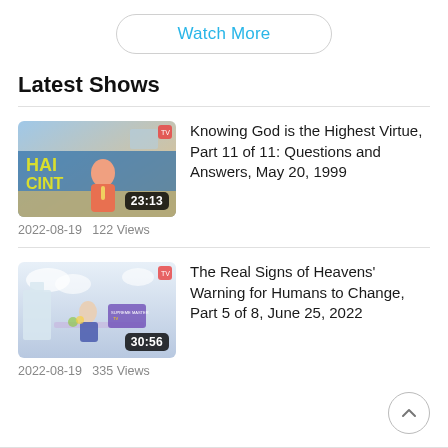Watch More
Latest Shows
[Figure (screenshot): Video thumbnail for 'Knowing God is the Highest Virtue' showing a woman at a podium with Thai text backdrop, duration 23:13]
Knowing God is the Highest Virtue, Part 11 of 11: Questions and Answers, May 20, 1999
2022-08-19   122 Views
[Figure (screenshot): Video thumbnail for 'The Real Signs of Heavens' Warning for Humans to Change' showing a woman speaking at a table with purple/blue background, duration 30:56]
The Real Signs of Heavens' Warning for Humans to Change, Part 5 of 8, June 25, 2022
2022-08-19   335 Views